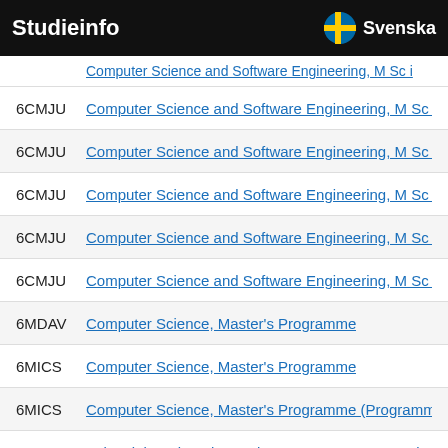Studieinfo   Svenska
6CMJU   Computer Science and Software Engineering, M Sc i
6CMJU   Computer Science and Software Engineering, M Sc i
6CMJU   Computer Science and Software Engineering, M Sc i
6CMJU   Computer Science and Software Engineering, M Sc i
6CMJU   Computer Science and Software Engineering, M Sc i
6MDAV   Computer Science, Master's Programme
6MICS   Computer Science, Master's Programme
6MICS   Computer Science, Master's Programme (Programm
6CIEI   Industrial Engineering and Management - Internation
6CIEI   Industrial Engineering and Management - Internation